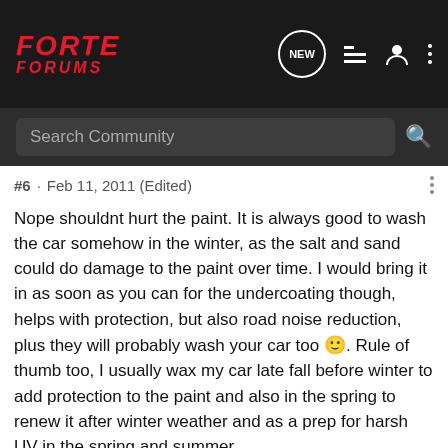FORTE FORUMS — NEW · List · User · Menu
Search Community
#6 · Feb 11, 2011 (Edited)
Nope shouldnt hurt the paint. It is always good to wash the car somehow in the winter, as the salt and sand could do damage to the paint over time. I would bring it in as soon as you can for the undercoating though, helps with protection, but also road noise reduction, plus they will probably wash your car too 🙂. Rule of thumb too, I usually wax my car late fall before winter to add protection to the paint and also in the spring to renew it after winter weather and as a prep for harsh UV in the spring and summer.

I do have to admit though, it is cold today here in Vancouver sitting at about 6 degrees celsius, but then for you that might be down right balmy haha. Hope I helped. Take care and keep